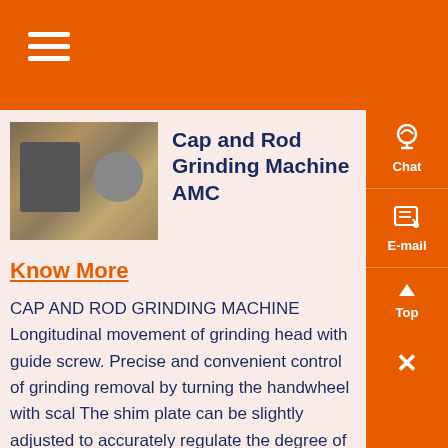Cap and Rod Grinding Machine AMC
[Figure (photo): Industrial grinding machine photographed outdoors at a facility site, showing mechanical equipment with conveyor components]
Cap and Rod Grinding Machine AMC
Know More
CAP AND ROD GRINDING MACHINE Longitudinal movement of grinding head with guide screw. Precise and convenient control of grinding removal by turning the handwheel with scal The shim plate can be slightly adjusted to accurately regulate the degree of parallelism between the grinding face of workpiece and the end-face of grinding wheel so that